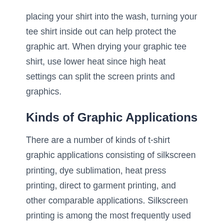placing your shirt into the wash, turning your tee shirt inside out can help protect the graphic art. When drying your graphic tee shirt, use lower heat since high heat settings can split the screen prints and graphics.
Kinds of Graphic Applications
There are a number of kinds of t-shirt graphic applications consisting of silkscreen printing, dye sublimation, heat press printing, direct to garment printing, and other comparable applications. Silkscreen printing is among the most frequently used and popular techniques for designing Hump Day Camel Apparel t-shirts.
Frequently Asked Questions (FAQs)